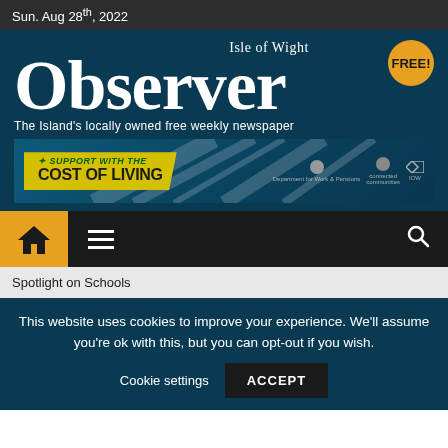Sun. Aug 28th, 2022
Isle of Wight Observer — FREE! — The Island's locally owned free weekly newspaper
[Figure (infographic): SUPPORT WITH THE COST OF LIVING banner advertisement with Department for Work & Pensions and other government logos]
[Figure (infographic): Navigation bar with home icon (yellow box), hamburger menu, and search icon]
Spotlight on Schools
This website uses cookies to improve your experience. We'll assume you're ok with this, but you can opt-out if you wish.
Cookie settings    ACCEPT